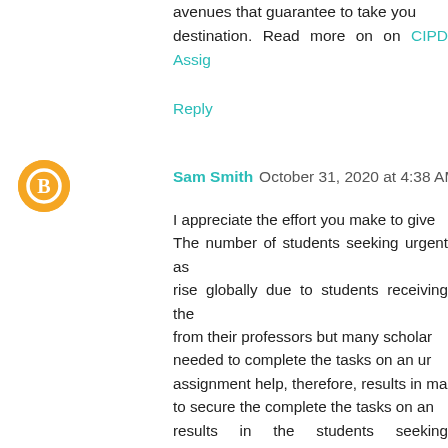avenues that guarantee to take you to your destination. Read more on on CIPD Assig...
Reply
Sam Smith October 31, 2020 at 4:38 AM
I appreciate the effort you make to give... The number of students seeking urgent as... rise globally due to students receiving the... from their professors but many scholars... needed to complete the tasks on an ur... assignment help, therefore, results in ma... to secure the complete the tasks on an... results in the students seeking assignmen... from our professional assignment writing s... and reach out to us for Instant Homework...